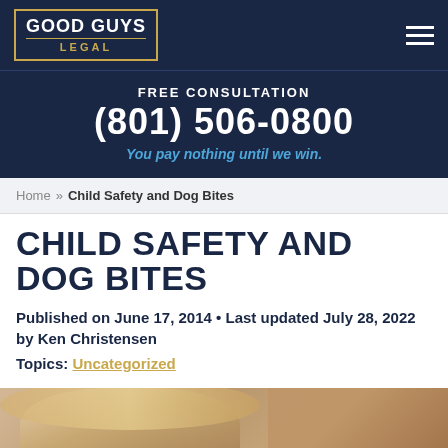GOOD GUYS LEGAL
FREE CONSULTATION
(801) 506-0800
You pay nothing until we win.
Home » Child Safety and Dog Bites
CHILD SAFETY AND DOG BITES
Published on June 17, 2014 • Last updated July 28, 2022 by Ken Christensen
Topics: Uncategorized
[Figure (photo): Sepia-toned photo of a child's face]